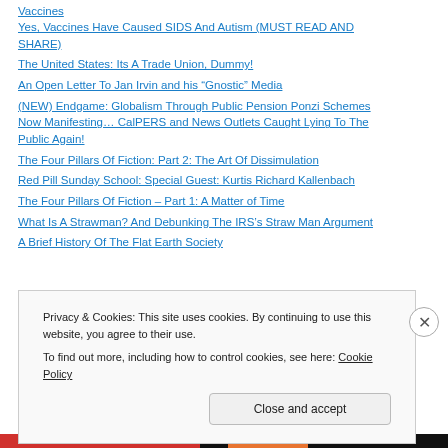Vaccines
Yes, Vaccines Have Caused SIDS And Autism (MUST READ AND SHARE)
The United States: Its A Trade Union, Dummy!
An Open Letter To Jan Irvin and his “Gnostic” Media
(NEW) Endgame: Globalism Through Public Pension Ponzi Schemes Now Manifesting… CalPERS and News Outlets Caught Lying To The Public Again!
The Four Pillars Of Fiction: Part 2: The Art Of Dissimulation
Red Pill Sunday School: Special Guest: Kurtis Richard Kallenbach
The Four Pillars Of Fiction – Part 1: A Matter of Time
What Is A Strawman? And Debunking The IRS’s Straw Man Argument
A Brief History Of The Flat Earth Society
Privacy & Cookies: This site uses cookies. By continuing to use this website, you agree to their use.
To find out more, including how to control cookies, see here: Cookie Policy